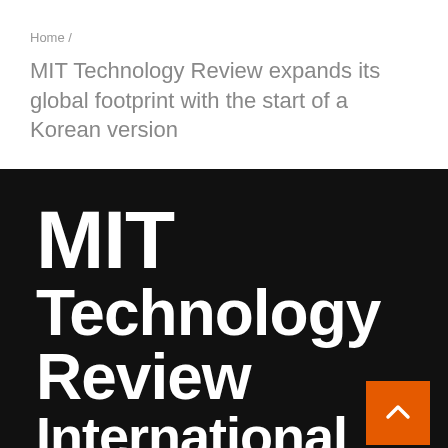Home /
MIT Technology Review expands its global footprint with the start of a Korean version
[Figure (logo): MIT Technology Review International logo on black background with white bold text and orange scroll-to-top button]